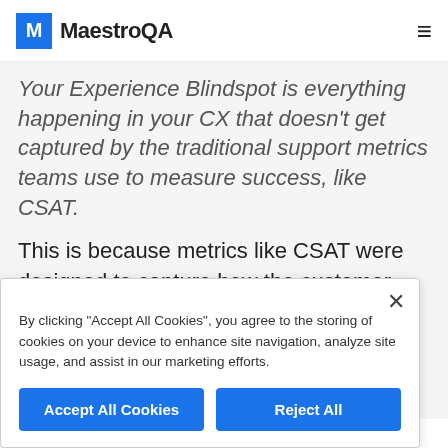MaestroQA
Your Experience Blindspot is everything happening in your CX that doesn't get captured by the traditional support metrics teams use to measure success, like CSAT.
This is because metrics like CSAT were designed to capture how the customer feels about their overall experience instead of individual agent performance. Customer satisfaction is critical to track and
By clicking "Accept All Cookies", you agree to the storing of cookies on your device to enhance site navigation, analyze site usage, and assist in our marketing efforts.
Accept All Cookies
Reject All